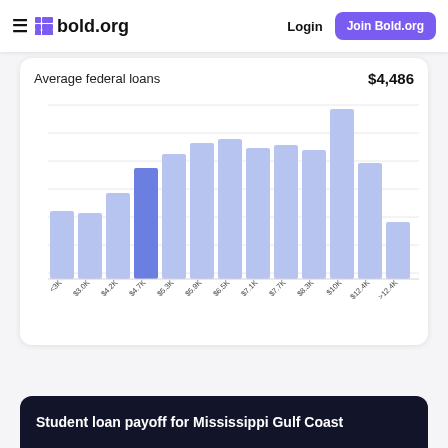bold.org — Login | Join Bold.org
Average federal loans   $4,486
[Figure (histogram): Average federal loans distribution]
Student loan payoff for Mississippi Gulf Coast